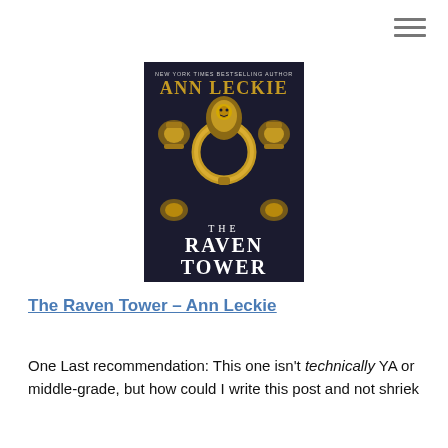[Figure (illustration): Book cover of 'The Raven Tower' by Ann Leckie. Dark background with ornate gold door knocker. Text at top: 'NEW YORK TIMES BESTSELLING AUTHOR'. Author name 'ANN LECKIE' in large gold letters. Bottom text 'THE RAVEN TOWER' in large white serif font.]
The Raven Tower – Ann Leckie
One Last recommendation: This one isn't technically YA or middle-grade, but how could I write this post and not shriek about one of my favourite books for multiple reasons